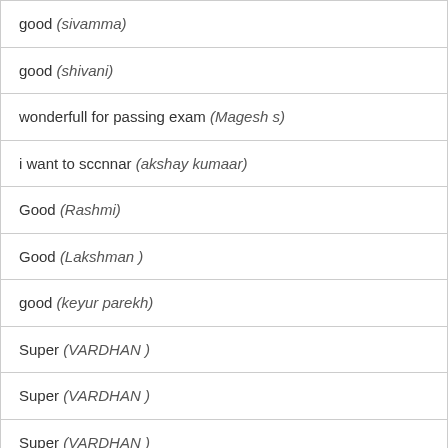| good (sivamma) |
| good (shivani) |
| wonderfull for passing exam (Magesh s) |
| i want to sccnnar (akshay kumaar) |
| Good (Rashmi) |
| Good (Lakshman ) |
| good (keyur parekh) |
| Super (VARDHAN ) |
| Super (VARDHAN ) |
| Super (VARDHAN ) |
| Super (VARDHAN ) |